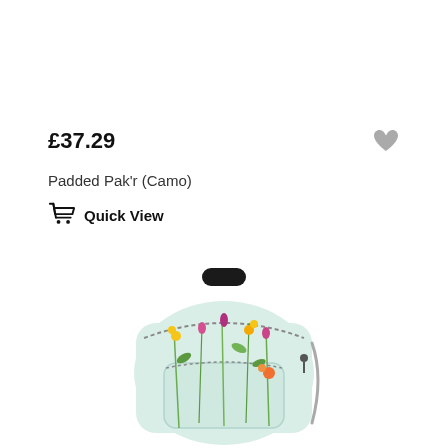£37.29
Padded Pak'r (Camo)
Quick View
[Figure (photo): Backpack with floral/botanical print pattern on light blue background, shown from rear/front view with black top handle and zipper detail]